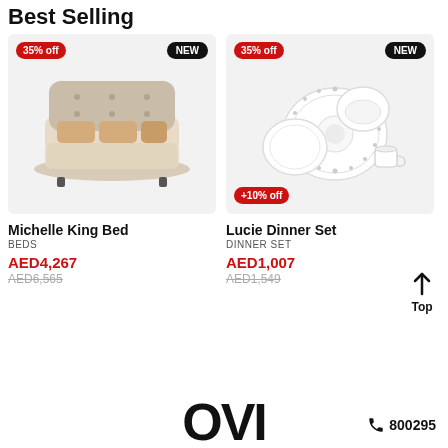Best Selling
[Figure (photo): Product card image of a beige upholstered king bed with pillows. Has badges: '35% off' (red, top-left) and 'NEW' (black, top-right).]
[Figure (photo): Product card image of a white decorative dinner set with plates, bowls and cups. Has badges: '35% off' (red, top-left), 'NEW' (black, top-right), and '+10% off' (red, bottom-left).]
Michelle King Bed
BEDS
AED4,267
AED6,565
Lucie Dinner Set
DINNER SET
AED1,007
AED1,549
Top
OVI
800295